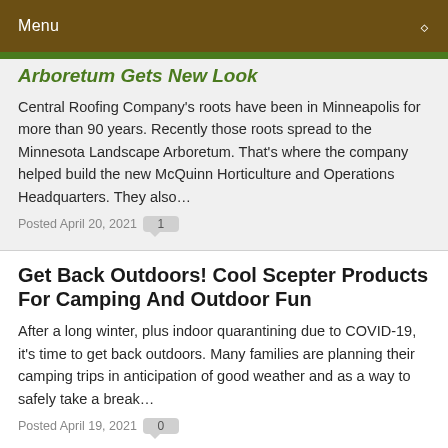Menu
Arboretum Gets New Look
Central Roofing Company's roots have been in Minneapolis for more than 90 years. Recently those roots spread to the Minnesota Landscape Arboretum. That's where the company helped build the new McQuinn Horticulture and Operations Headquarters. They also...
Posted April 20, 2021   1
Get Back Outdoors! Cool Scepter Products For Camping And Outdoor Fun
After a long winter, plus indoor quarantining due to COVID-19, it's time to get back outdoors. Many families are planning their camping trips in anticipation of good weather and as a way to safely take a break...
Posted April 19, 2021   0
Show Notes: Rub Some Dirt In It